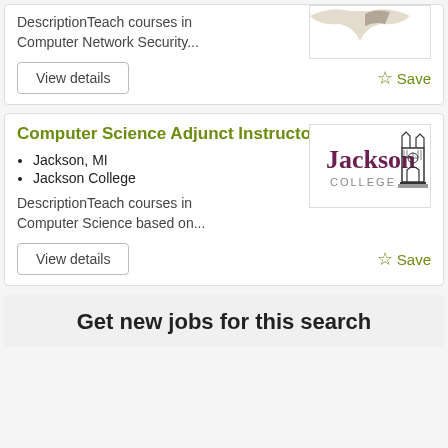DescriptionTeach courses in Computer Network Security...
View details
Save
Computer Science Adjunct Instructor
Jackson, MI
Jackson College
[Figure (logo): Jackson College logo with gothic arch and text]
DescriptionTeach courses in Computer Science based on...
View details
Save
Get new jobs for this search